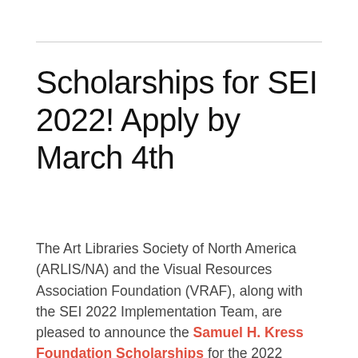Scholarships for SEI 2022! Apply by March 4th
The Art Libraries Society of North America (ARLIS/NA) and the Visual Resources Association Foundation (VRAF), along with the SEI 2022 Implementation Team, are pleased to announce the Samuel H. Kress Foundation Scholarships for the 2022 Summer Educational Institute for Digital Stewardship of Visual